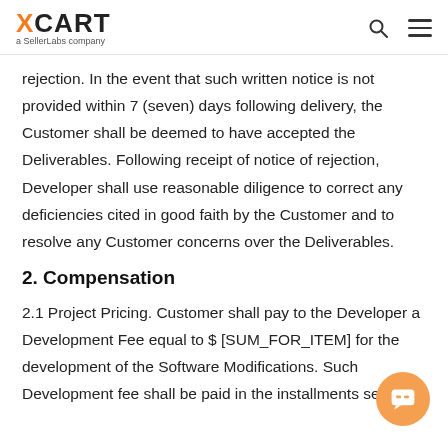XCART a SellerLabs company
rejection. In the event that such written notice is not provided within 7 (seven) days following delivery, the Customer shall be deemed to have accepted the Deliverables. Following receipt of notice of rejection, Developer shall use reasonable diligence to correct any deficiencies cited in good faith by the Customer and to resolve any Customer concerns over the Deliverables.
2. Compensation
2.1 Project Pricing. Customer shall pay to the Developer a Development Fee equal to $ [SUM_FOR_ITEM] for the development of the Software Modifications. Such Development fee shall be paid in the installments set forth